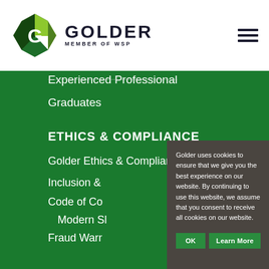[Figure (logo): Golder Member of WSP logo — hexagonal G icon in green/yellow/dark green with company name]
Experienced Professional
Graduates
ETHICS & COMPLIANCE
Golder Ethics & Compliance Hotline
Inclusion &
Code of Co
Modern Sl
Fraud Warr
Golder uses cookies to ensure that we give you the best experience on our website. By continuing to use this website, we assume that you consent to receive all cookies on our website.